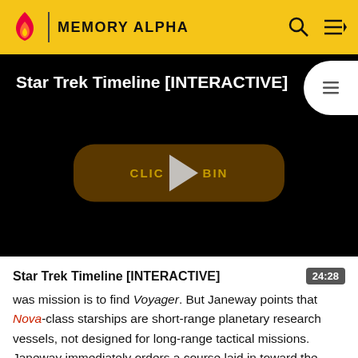MEMORY ALPHA
[Figure (screenshot): Video player showing 'Star Trek Timeline [INTERACTIVE]' with a black background, a play button overlay, and a 'CLICK TO BEGIN' button in dark gold color]
Star Trek Timeline [INTERACTIVE]
was mission is to find Voyager. But Janeway points that Nova-class starships are short-range planetary research vessels, not designed for long-range tactical missions. Janeway immediately orders a course laid in toward the